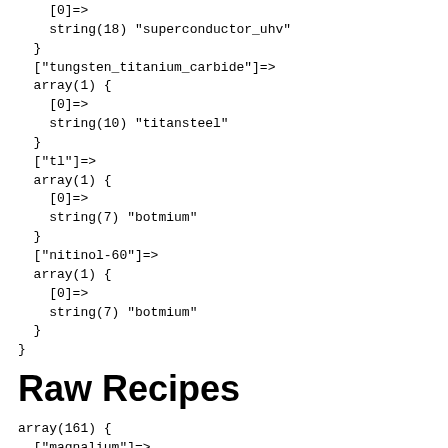[0]=>
    string(18) "superconductor_uhv"
  }
  ["tungsten_titanium_carbide"]=>
  array(1) {
    [0]=>
    string(10) "titansteel"
  }
  ["tl"]=>
  array(1) {
    [0]=>
    string(7) "botmium"
  }
  ["nitinol-60"]=>
  array(1) {
    [0]=>
    string(7) "botmium"
  }
}
Raw Recipes
array(161) {
  ["magnalium"]=>
  array(3) {
    ["circuit"]=>
    int(1)
    ["hvolt"]=>